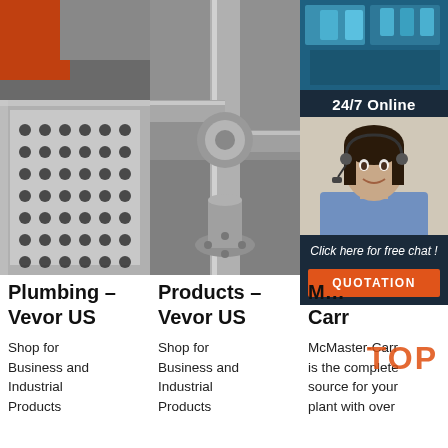[Figure (photo): Close-up photo of metal perforated sheet/grater with industrial machinery (orange) in background]
[Figure (photo): Close-up photo of metal scaffolding pipe connectors/joints]
[Figure (photo): Industrial blue machinery in background with 24/7 online chat panel overlay showing a customer service representative wearing headset]
24/7 Online
Click here for free chat !
QUOTATION
Plumbing – Vevor US
Products – Vevor US
M... Carr
Shop for Business and Industrial Products
Shop for Business and Industrial Products
McMaster-Carr is the complete source for your plant with over